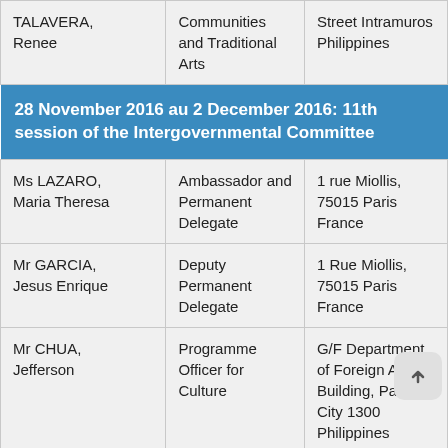| Name | Role | Address |
| --- | --- | --- |
| TALAVERA, Renee | Communities and Traditional Arts | Street Intramuros Philippines |
| Ms LAZARO, Maria Theresa | Ambassador and Permanent Delegate | 1 rue Miollis, 75015 Paris France |
| Mr GARCIA, Jesus Enrique | Deputy Permanent Delegate | 1 Rue Miollis, 75015 Paris France |
| Mr CHUA, Jefferson | Programme Officer for Culture | G/F Department of Foreign Affairs Building, Pasay City 1300 Philippines |
| Ms RAZON, Pisces Joy | Attachée | 1 rue Miollis, 75015 Paris France |
28 November 2016 au 2 December 2016: 11th session of the Intergovernmental Committee